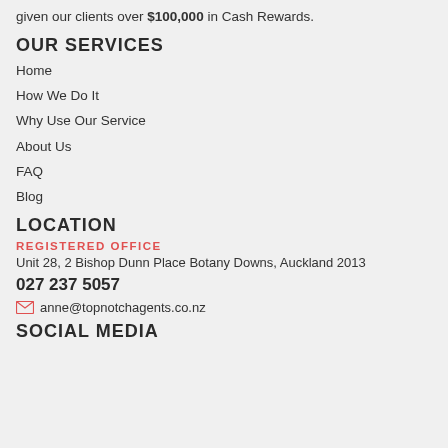given our clients over $100,000 in Cash Rewards.
OUR SERVICES
Home
How We Do It
Why Use Our Service
About Us
FAQ
Blog
LOCATION
REGISTERED OFFICE
Unit 28, 2 Bishop Dunn Place Botany Downs, Auckland 2013
027 237 5057
anne@topnotchagents.co.nz
SOCIAL MEDIA